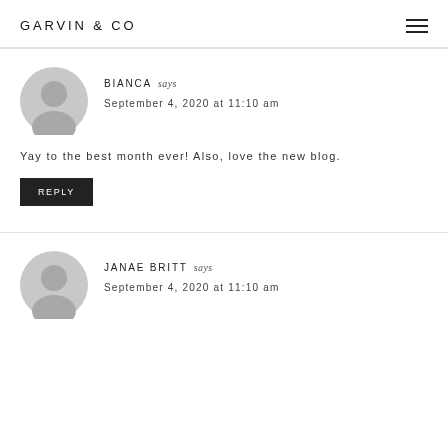GARVIN & CO
BIANCA says
September 4, 2020 at 11:10 am
Yay to the best month ever! Also, love the new blog.
REPLY
JANAE BRITT says
September 4, 2020 at 11:10 am